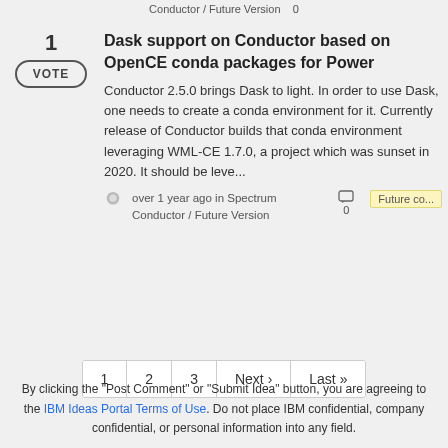Conductor / Future Version   0
1
VOTE
Dask support on Conductor based on OpenCE conda packages for Power
Conductor 2.5.0 brings Dask to light. In order to use Dask, one needs to create a conda environment for it. Currently release of Conductor builds that conda environment leveraging WML-CE 1.7.0, a project which was sunset in 2020. It should be leve...
over 1 year ago in Spectrum Conductor / Future Version   0   Future co...
1
2
3
Next ›
Last »
By clicking the "Post Comment" or "Submit Idea" button, you are agreeing to the IBM Ideas Portal Terms of Use. Do not place IBM confidential, company confidential, or personal information into any field.